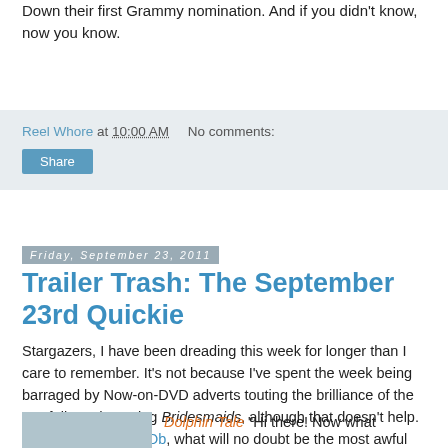Down their first Grammy nomination. And if you didn't know, now you know.
Reel Whore at 10:00 AM   No comments:
Share
Friday, September 23, 2011
Trailer Trash: The September 23rd Quickie
Stargazers, I have been dreading this week for longer than I care to remember. It's not because I've spent the week being barraged by Now-on-DVD adverts touting the brilliance of the woefully undeserving Bridesmaids, although that doesn't help. No, according to IMDb, what will no doubt be the most awful action film of the year releases today. You'll have to read on to discover which one, but I bet you can guess.
[Figure (photo): Partial image at bottom left, partially cut off]
Dolphin Tale "Hi there! Now what